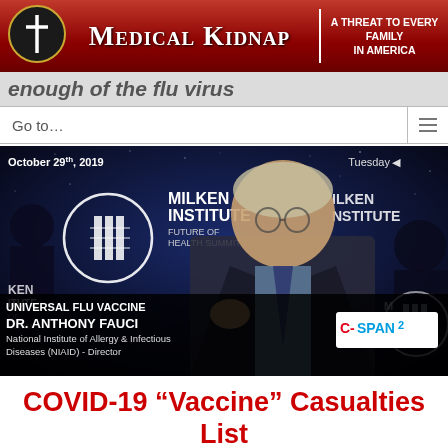Medical Kidnap | A Threat to Every Family in America
enough of the flu virus
Go to...
[Figure (screenshot): Screenshot from C-SPAN2 video of Dr. Anthony Fauci speaking at the Milken Institute Future of Health Summit on October 29th, 2019. Lower-third graphic reads: UNIVERSAL FLU VACCINE / DR. ANTHONY FAUCI / National Institute of Allergy & Infectious Diseases (NIAID) - Director. C-SPAN2 logo visible at bottom right.]
COVID-19 “Vaccine” Casualties List